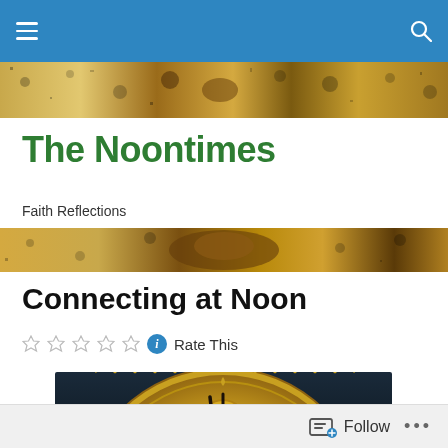The Noontimes — Faith Reflections (navigation bar)
The Noontimes
Faith Reflections
Connecting at Noon
Rate This
[Figure (photo): Close-up photograph of an ornate golden antique clock face showing numbers 10, 11, 12, 1, 2 with clock hands pointing near noon/midnight]
Follow  ...